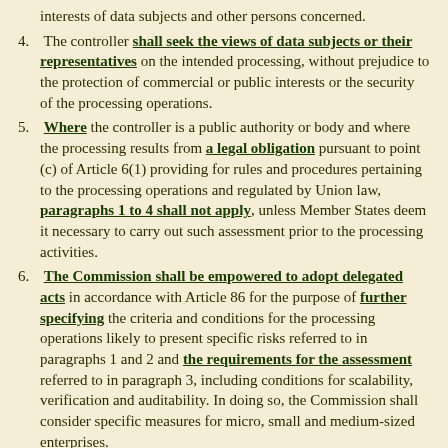(intro) interests of data subjects and other persons concerned.
4. The controller shall seek the views of data subjects or their representatives on the intended processing, without prejudice to the protection of commercial or public interests or the security of the processing operations.
5. Where the controller is a public authority or body and where the processing results from a legal obligation pursuant to point (c) of Article 6(1) providing for rules and procedures pertaining to the processing operations and regulated by Union law, paragraphs 1 to 4 shall not apply, unless Member States deem it necessary to carry out such assessment prior to the processing activities.
6. The Commission shall be empowered to adopt delegated acts in accordance with Article 86 for the purpose of further specifying the criteria and conditions for the processing operations likely to present specific risks referred to in paragraphs 1 and 2 and the requirements for the assessment referred to in paragraph 3, including conditions for scalability, verification and auditability. In doing so, the Commission shall consider specific measures for micro, small and medium-sized enterprises.
7. The Commission may specify standards and procedures for carrying out and verifying and auditing the assessment referred to in paragraph 3. Those implementing acts shall be adopted in